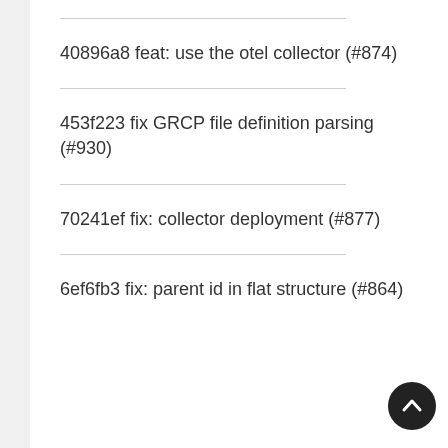40896a8 feat: use the otel collector (#874)
453f223 fix GRCP file definition parsing (#930)
70241ef fix: collector deployment (#877)
6ef6fb3 fix: parent id in flat structure (#864)